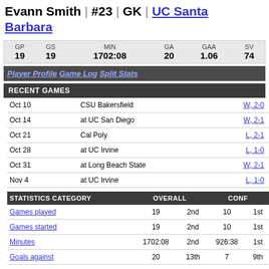Evann Smith | #23 | GK | UC Santa Barbara
| GP | GS | MIN | GA | GAA | SV |
| --- | --- | --- | --- | --- | --- |
| 19 | 19 | 1702:08 | 20 | 1.06 | 74 |
Player Profile  Game Log  Split Stats
RECENT GAMES
| Date | Opponent | Result |
| --- | --- | --- |
| Oct 10 | CSU Bakersfield | W, 2-0 |
| Oct 14 | at UC San Diego | W, 2-1 |
| Oct 21 | Cal Poly | L, 2-1 |
| Oct 28 | at UC Irvine | L, 1-0 |
| Oct 31 | at Long Beach State | W, 2-1 |
| Nov 4 | at UC Irvine | L, 1-0 |
| STATISTICS CATEGORY | OVERALL |  | CONF |  |
| --- | --- | --- | --- | --- |
| Games played | 19 | 2nd | 10 | 1st |
| Games started | 19 | 2nd | 10 | 1st |
| Minutes | 1702:08 | 2nd | 926:38 | 1st |
| Goals against | 20 | 13th | 7 | 9th |